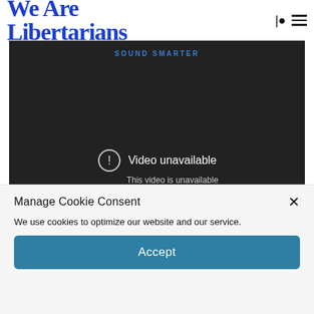We Are Libertarians
[Figure (screenshot): Embedded video player with dark background showing 'SOUND SMARTER' text at top and a 'Video unavailable / This video is unavailable' error message with warning icon in the center-bottom area.]
Manage Cookie Consent
We use cookies to optimize our website and our service.
Accept